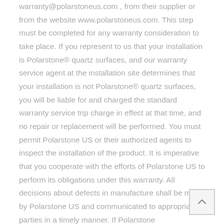warranty@polarstoneus.com , from their supplier or from the website www.polarstoneus.com. This step must be completed for any warranty consideration to take place. If you represent to us that your installation is Polarstone® quartz surfaces, and our warranty service agent at the installation site determines that your installation is not Polarstone® quartz surfaces, you will be liable for and charged the standard warranty service trip charge in effect at that time, and no repair or replacement will be performed. You must permit Polarstone US or their authorized agents to inspect the installation of the product. It is imperative that you cooperate with the efforts of Polarstone US to perform its obligations under this warranty. All decisions about defects in manufacture shall be made by Polarstone US and communicated to appropriate parties in a timely manner. If Polarstone